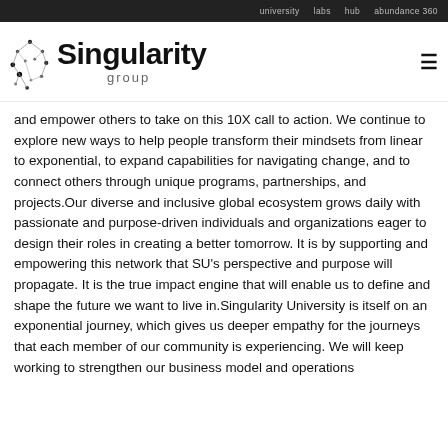university   labs   hub   abundance 360
[Figure (logo): Singularity Group logo with network icon and bold text]
and empower others to take on this 10X call to action. We continue to explore new ways to help people transform their mindsets from linear to exponential, to expand capabilities for navigating change, and to connect others through unique programs, partnerships, and projects.Our diverse and inclusive global ecosystem grows daily with passionate and purpose-driven individuals and organizations eager to design their roles in creating a better tomorrow. It is by supporting and empowering this network that SU's perspective and purpose will propagate. It is the true impact engine that will enable us to define and shape the future we want to live in.Singularity University is itself on an exponential journey, which gives us deeper empathy for the journeys that each member of our community is experiencing. We will keep working to strengthen our business model and operations